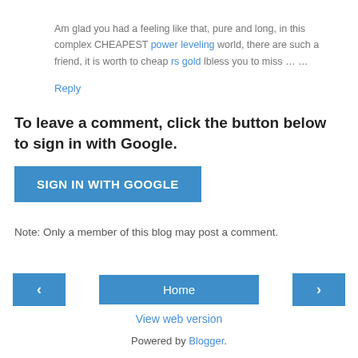Am glad you had a feeling like that, pure and long, in this complex CHEAPEST power leveling world, there are such a friend, it is worth to cheap rs gold lbless you to miss … …
Reply
To leave a comment, click the button below to sign in with Google.
SIGN IN WITH GOOGLE
Note: Only a member of this blog may post a comment.
‹  Home  ›
View web version
Powered by Blogger.